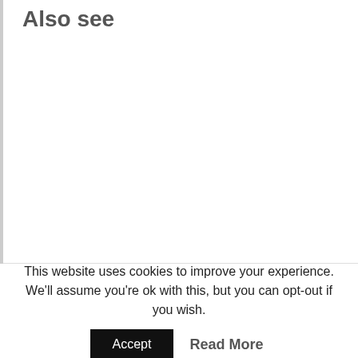Also see
This website uses cookies to improve your experience. We'll assume you're ok with this, but you can opt-out if you wish.
Accept   Read More